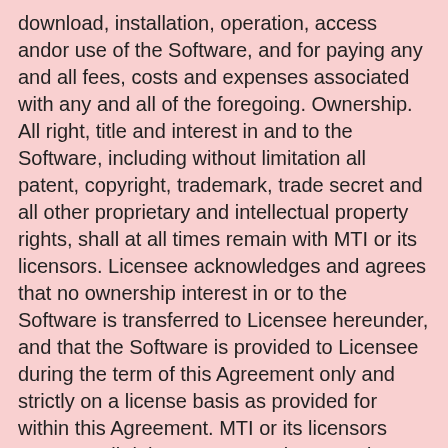download, installation, operation, access andor use of the Software, and for paying any and all fees, costs and expenses associated with any and all of the foregoing. Ownership. All right, title and interest in and to the Software, including without limitation all patent, copyright, trademark, trade secret and all other proprietary and intellectual property rights, shall at all times remain with MTI or its licensors. Licensee acknowledges and agrees that no ownership interest in or to the Software is transferred to Licensee hereunder, and that the Software is provided to Licensee during the term of this Agreement only and strictly on a license basis as provided for within this Agreement. MTI or its licensors reserves all rights not expressly granted. Permitted Uses. Licensee may download, install and use one 1 copy of the Software on one 1 personal computer of Licensee andmake one 1 additional copy of the Software in machine readable format for backup purposes only. Install Ssd In Hp Desktop' title='Install Ssd In Hp Desktop' />Licensee is prohibited to the fullest extent permitted by applicable law from doing any of the following sublicense, sublease, lease, sell, distribute, rent, permit